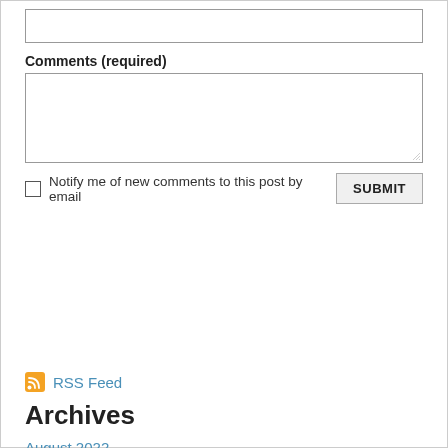[Figure (screenshot): Empty text input field]
Comments (required)
[Figure (screenshot): Empty textarea input field with resize handle]
Notify me of new comments to this post by email
SUBMIT
RSS Feed
Archives
August 2022
July 2022
June 2022